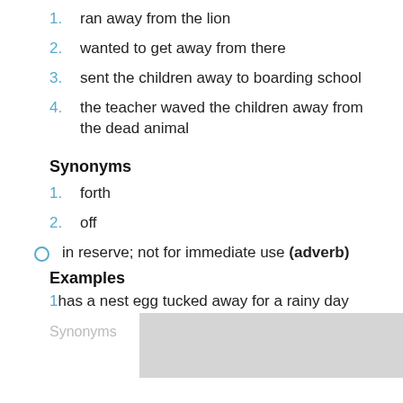1. ran away from the lion
2. wanted to get away from there
3. sent the children away to boarding school
4. the teacher waved the children away from the dead animal
Synonyms
1. forth
2. off
in reserve; not for immediate use (adverb)
Examples
1. has a nest egg tucked away for a rainy day
Synonyms